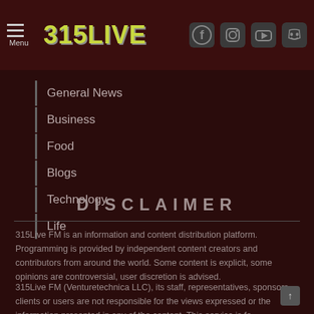Menu | 315LIVE | [social icons: Facebook, Instagram, YouTube, Discord]
General News
Business
Food
Blogs
Technology
Life
DISCLAIMER
315Live FM is an information and content distribution platform. Programming is provided by independent content creators and contributors from around the world. Some content is explicit, some opinions are controversial, user discretion is advised.
315Live FM (Venturetechnica LLC), its staff, representatives, sponsors, clients or users are not responsible for the views expressed or the information presented in any of the content. This service is fo